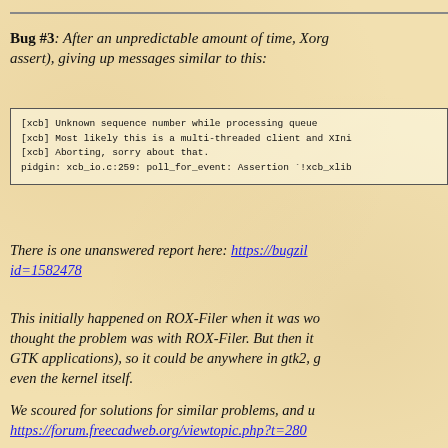Bug #3: After an unpredictable amount of time, Xorg (assert), giving up messages similar to this:
[xcb] Unknown sequence number while processing queue
[xcb] Most likely this is a multi-threaded client and XIni
[xcb] Aborting, sorry about that.
pidgin: xcb_io.c:259: poll_for_event: Assertion `!xcb_xlib
There is one unanswered report here: https://bugzil id=1582478
This initially happened on ROX-Filer when it was wo thought the problem was with ROX-Filer. But then it GTK applications), so it could be anywhere in gtk2, g even the kernel itself.
We scoured for solutions for similar problems, and u https://forum.freecadweb.org/viewtopic.php?t=280